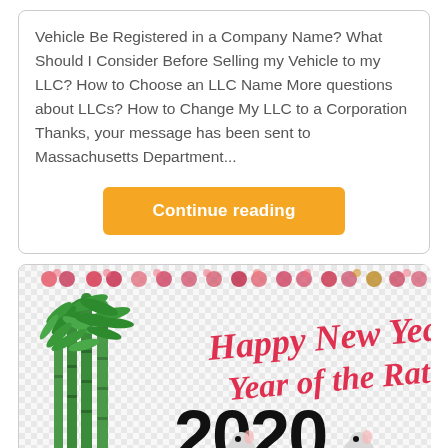Vehicle Be Registered in a Company Name? What Should I Consider Before Selling my Vehicle to my LLC? How to Choose an LLC Name More questions about LLCs? How to Change My LLC to a Corporation Thanks, your message has been sent to Massachusetts Department...
Continue reading
[Figure (illustration): Happy New Year Year of the Rat 2020 illustration with bamboo plants and cartoon mice, decorative circles border at top]